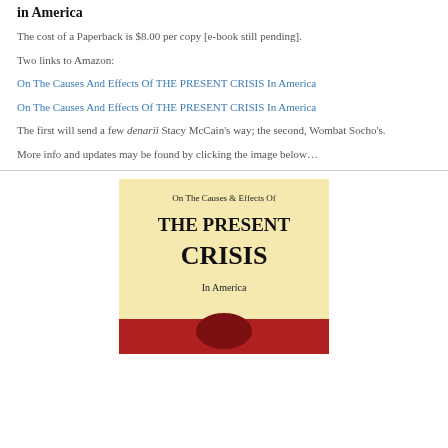in America
The cost of a Paperback is $8.00 per copy [e-book still pending].
Two links to Amazon:
On The Causes And Effects Of THE PRESENT CRISIS In America
On The Causes And Effects Of THE PRESENT CRISIS In America
The first will send a few denarii Stacy McCain’s way; the second, Wombat Socho’s.
More info and updates may be found by clicking the image below…
[Figure (illustration): Book cover for 'On The Causes & Effects Of THE PRESENT CRISIS In America' with a pale yellow background and red lower section, showing the book title in large bold serif font.]